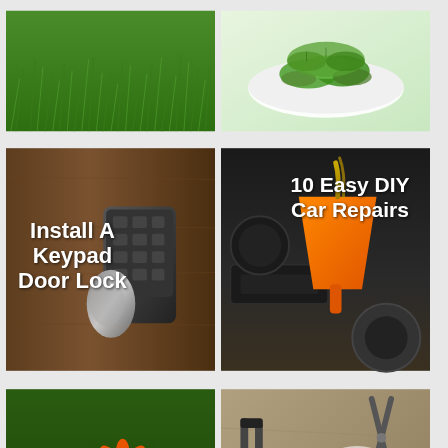[Figure (photo): Close-up of green grass/lawn]
[Figure (photo): Bowl of fresh green vegetables/salad]
[Figure (photo): Keypad door lock installed on wooden door with text overlay: Install A Keypad Door Lock]
[Figure (photo): Oil being poured with orange funnel into car engine, text overlay: 10 Easy DIY Car Repairs]
[Figure (photo): Pink and orange echinacea/coneflowers in bloom, text overlay: What To Plant in August]
[Figure (photo): Assorted hand tools on wooden surface with circular overlay text: How To Take Care of Your Tools]